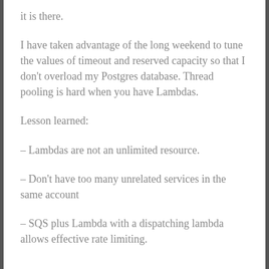it is there.
I have taken advantage of the long weekend to tune the values of timeout and reserved capacity so that I don't overload my Postgres database. Thread pooling is hard when you have Lambdas.
Lesson learned:
– Lambdas are not an unlimited resource.
– Don't have too many unrelated services in the same account
– SQS plus Lambda with a dispatching lambda allows effective rate limiting.